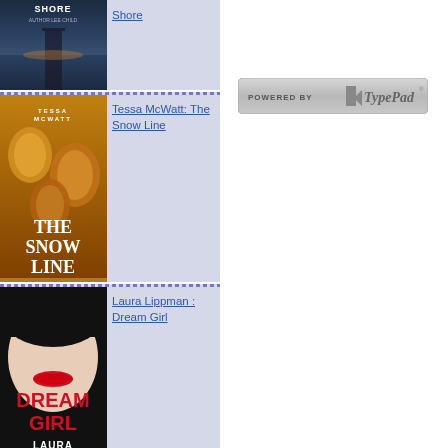[Figure (illustration): Book cover for 'The Dark Shore' - dock over calm water at sunset, dark moody blue tones]
Shore
[Figure (illustration): Book cover for 'Tessa McWatt: The Snow Line' - golden bells on dark background with book title]
Tessa McWatt: The Snow Line
[Figure (illustration): Book cover for 'Laura Lippman: Dream Girl' - woman's face with red lips, dark hair, red and white text]
Laura Lippman : Dream Girl
[Figure (illustration): Book cover for 'Mary Kelly: The Spoilt Kill' - dark red cover with text]
Mary Kelly: The
[Figure (logo): Powered by TypePad badge - grey rounded rectangle with TypePad logo and text]